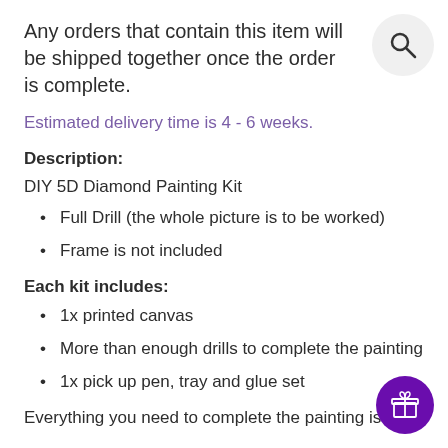Any orders that contain this item will be shipped together once the order is complete.
Estimated delivery time is 4 - 6 weeks.
Description:
DIY 5D Diamond Painting Kit
Full Drill (the whole picture is to be worked)
Frame is not included
Each kit includes:
1x printed canvas
More than enough drills to complete the painting
1x pick up pen, tray and glue set
Everything you need to complete the painting is